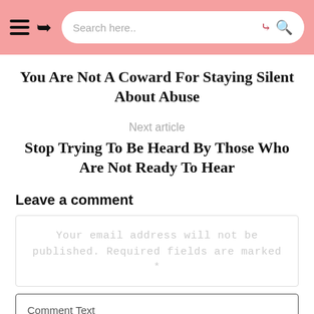Search here..
You Are Not A Coward For Staying Silent About Abuse
Next article
Stop Trying To Be Heard By Those Who Are Not Ready To Hear
Leave a comment
Your email address will not be published. Required fields are marked *
Comment Text